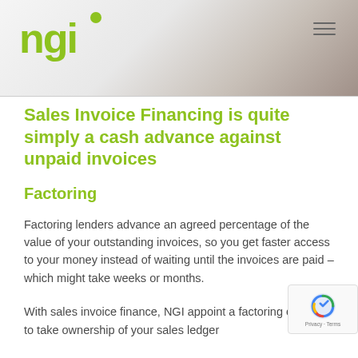[Figure (screenshot): NGI company logo in green on white/grey header background with hamburger menu icon on right]
Sales Invoice Financing is quite simply a cash advance against unpaid invoices
Factoring
Factoring lenders advance an agreed percentage of the value of your outstanding invoices, so you get faster access to your money instead of waiting until the invoices are paid – which might take weeks or months.
With sales invoice finance, NGI appoint a factoring company to take ownership of your sales ledger